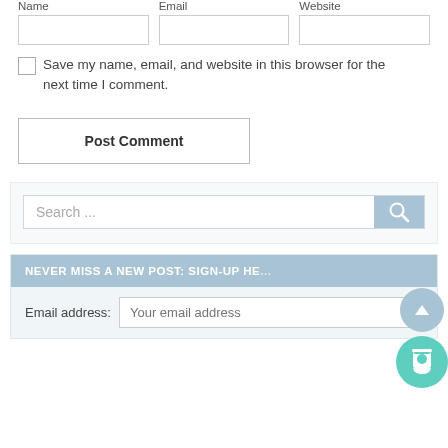Name
Email
Website
Save my name, email, and website in this browser for the next time I comment.
Post Comment
Search ...
NEVER MISS A NEW POST: SIGN-UP HE...
Email address: Your email address